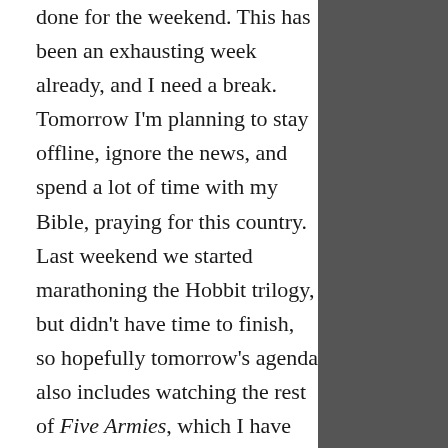done for the weekend. This has been an exhausting week already, and I need a break. Tomorrow I'm planning to stay offline, ignore the news, and spend a lot of time with my Bible, praying for this country. Last weekend we started marathoning the Hobbit trilogy, but didn't have time to finish, so hopefully tomorrow's agenda also includes watching the rest of Five Armies, which I have never seen.
What are you up to this weekend? Tell me in the comments!